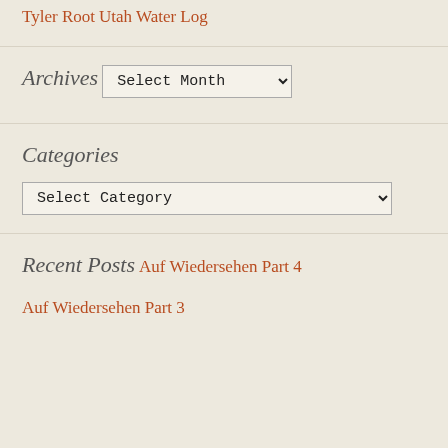Tyler Root
Utah Water Log
Archives
Select Month (dropdown)
Categories
Select Category (dropdown)
Recent Posts
Auf Wiedersehen Part 4
Auf Wiedersehen Part 3